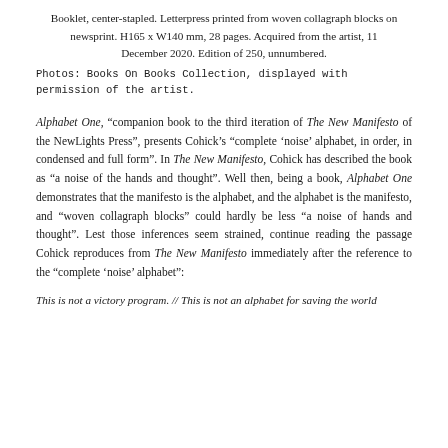Booklet, center-stapled. Letterpress printed from woven collagraph blocks on newsprint. H165 x W140 mm, 28 pages. Acquired from the artist, 11 December 2020. Edition of 250, unnumbered.
Photos: Books On Books Collection, displayed with permission of the artist.
Alphabet One, “companion book to the third iteration of The New Manifesto of the NewLights Press”, presents Cohick’s “complete ‘noise’ alphabet, in order, in condensed and full form”. In The New Manifesto, Cohick has described the book as “a noise of the hands and thought”. Well then, being a book, Alphabet One demonstrates that the manifesto is the alphabet, and the alphabet is the manifesto, and “woven collagraph blocks” could hardly be less “a noise of hands and thought”. Lest those inferences seem strained, continue reading the passage Cohick reproduces from The New Manifesto immediately after the reference to the “complete ‘noise’ alphabet”:
This is not a victory program. // This is not an alphabet for saving the world